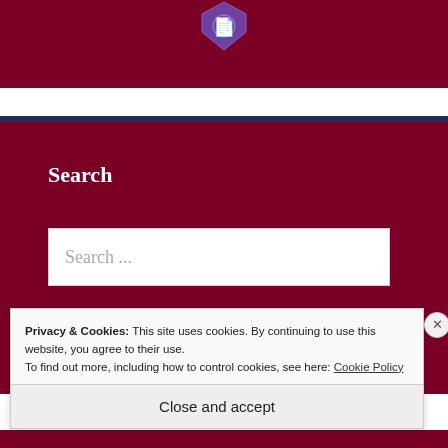[Figure (logo): Purple shield icon with stylized letter on dark red banner background]
Search
Search ...
Privacy & Cookies: This site uses cookies. By continuing to use this website, you agree to their use.
To find out more, including how to control cookies, see here: Cookie Policy
Close and accept